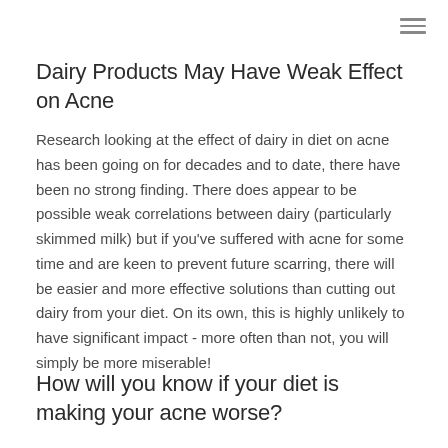Dairy Products May Have Weak Effect on Acne
Research looking at the effect of dairy in diet on acne has been going on for decades and to date, there have been no strong finding. There does appear to be possible weak correlations between dairy (particularly skimmed milk) but if you’ve suffered with acne for some time and are keen to prevent future scarring, there will be easier and more effective solutions than cutting out dairy from your diet. On its own, this is highly unlikely to have significant impact - more often than not, you will simply be more miserable!
How will you know if your diet is making your acne worse?